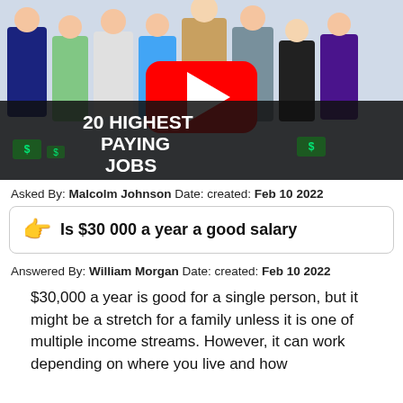[Figure (screenshot): YouTube video thumbnail showing multiple workers in various professions (doctor, chef, construction worker, nurse, businesswoman, mechanic) with text '20 HIGHEST PAYING JOBS' and a YouTube play button overlay.]
Asked By: Malcolm Johnson Date: created: Feb 10 2022
👉 Is $30 000 a year a good salary
Answered By: William Morgan Date: created: Feb 10 2022
$30,000 a year is good for a single person, but it might be a stretch for a family unless it is one of multiple income streams. However, it can work depending on where you live and how